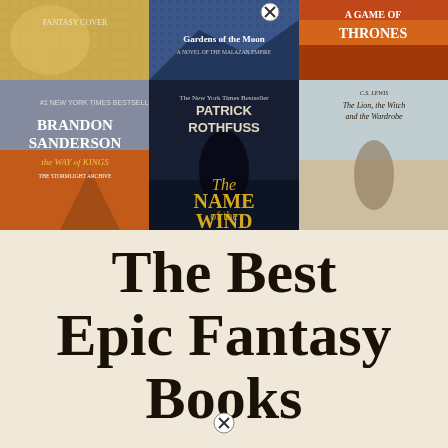[Figure (photo): Collage of fantasy book covers in two rows: top row shows partial covers including Gardens of the Moon and A Game of Thrones; bottom row shows The Way of Kings by Brandon Sanderson, The Name of the Wind by Patrick Rothfuss, and The Lion the Witch and the Wardrobe by C.S. Lewis]
The Best Epic Fantasy Books